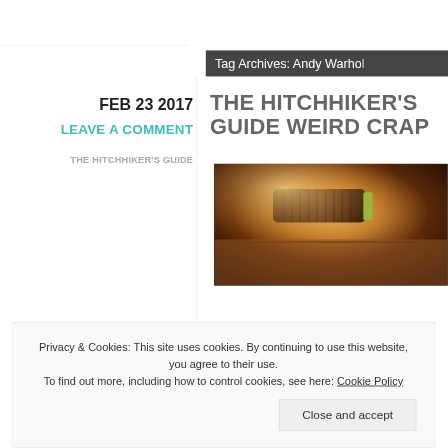Tag Archives: Andy Warhol
FEB 23 2017
LEAVE A COMMENT
THE HITCHHIKER'S GUIDE
THE HITCHHIKER'S GUIDE WEIRD CRAP
[Figure (photo): Close-up photo of what appears to be a microphone or similar cylindrical object on a surface, lit with warm amber/brown tones]
Privacy & Cookies: This site uses cookies. By continuing to use this website, you agree to their use. To find out more, including how to control cookies, see here: Cookie Policy
Close and accept